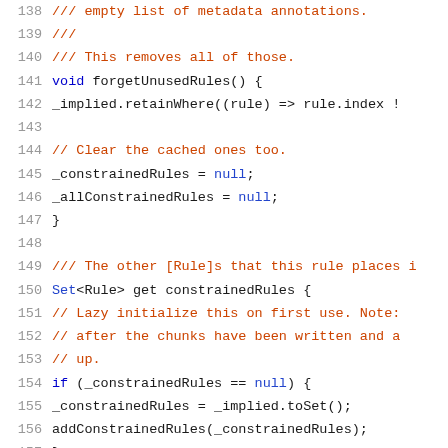Code listing lines 138-159, source code in Dart/JavaScript showing forgetUnusedRules and constrainedRules getter methods